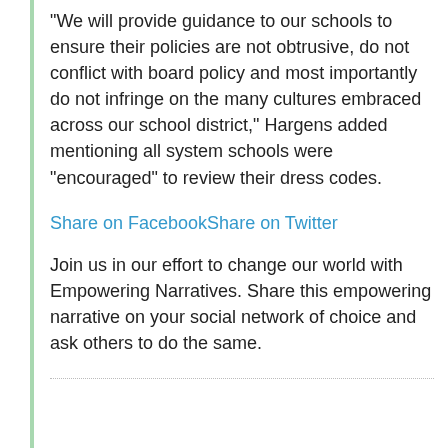“We will provide guidance to our schools to ensure their policies are not obtrusive, do not conflict with board policy and most importantly do not infringe on the many cultures embraced across our school district,” Hargens added mentioning all system schools were “encouraged” to review their dress codes.
Share on FacebookShare on Twitter
Join us in our effort to change our world with Empowering Narratives. Share this empowering narrative on your social network of choice and ask others to do the same.